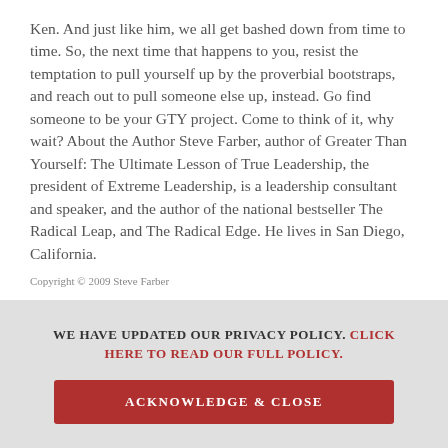Ken. And just like him, we all get bashed down from time to time. So, the next time that happens to you, resist the temptation to pull yourself up by the proverbial bootstraps, and reach out to pull someone else up, instead. Go find someone to be your GTY project. Come to think of it, why wait? About the Author Steve Farber, author of Greater Than Yourself: The Ultimate Lesson of True Leadership, the president of Extreme Leadership, is a leadership consultant and speaker, and the author of the national bestseller The Radical Leap, and The Radical Edge. He lives in San Diego, California.
Copyright © 2009 Steve Farber
WE HAVE UPDATED OUR PRIVACY POLICY. CLICK HERE TO READ OUR FULL POLICY.
ACKNOWLEDGE & CLOSE